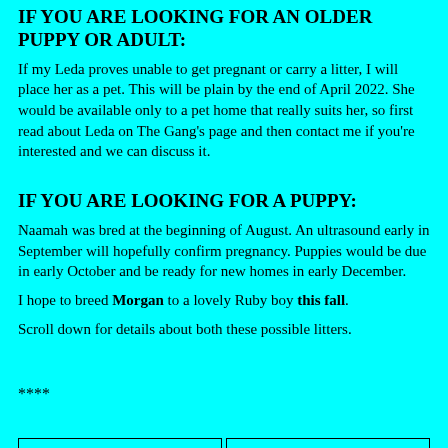IF YOU ARE LOOKING FOR AN OLDER PUPPY OR ADULT:
If my Leda proves unable to get pregnant or carry a litter, I will place her as a pet. This will be plain by the end of April 2022. She would be available only to a pet home that really suits her, so first read about Leda on The Gang's page and then contact me if you're interested and we can discuss it.
IF YOU ARE LOOKING FOR A PUPPY:
Naamah was bred at the beginning of August. An ultrasound early in September will hopefully confirm pregnancy. Puppies would be due in early October and be ready for new homes in early December.
I hope to breed Morgan to a lovely Ruby boy this fall.
Scroll down for details about both these possible litters.
****